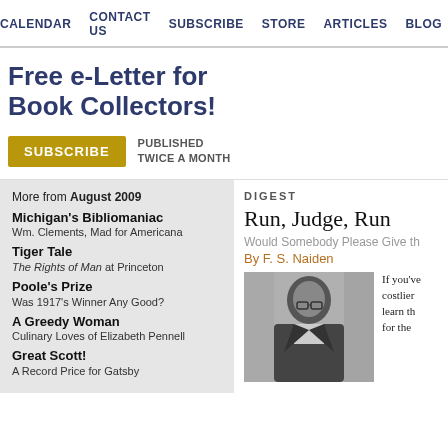CALENDAR   CONTACT US   SUBSCRIBE   STORE   ARTICLES   BLOG   NEWS
Free e-Letter for Book Collectors!
SUBSCRIBE   PUBLISHED TWICE A MONTH
More from August 2009
Michigan's Bibliomaniac
Wm. Clements, Mad for Americana
Tiger Tale
The Rights of Man at Princeton
Poole's Prize
Was 1917's Winner Any Good?
A Greedy Woman
Culinary Loves of Elizabeth Pennell
Great Scott!
A Record Price for Gatsby
DIGEST
Run, Judge, Run
Would Somebody Please Give th
By F. S. Naiden
[Figure (photo): Black and white photo of a man in glasses and suit, seated]
If you've costlier learn th for the